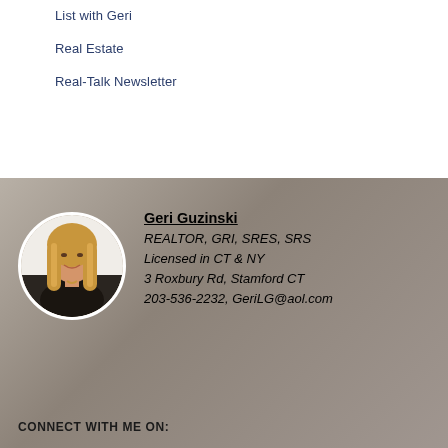List with Geri
Real Estate
Real-Talk Newsletter
Geri Guzinski
REALTOR, GRI, SRES, SRS
Licensed in CT & NY
3 Roxbury Rd, Stamford CT
203-536-2232, GeriLG@aol.com
CONNECT WITH ME ON: